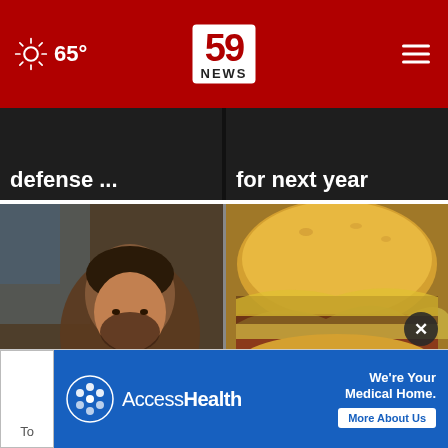[Figure (screenshot): News website header with red background, sun/weather icon showing 65°, centered '59 NEWS' logo in white box, and hamburger menu icon on right]
defense ...
for next year
[Figure (photo): Man focused on fly fishing activity, close-up, dark background]
Local veterans get together for fly fishing
[Figure (photo): Close-up of a ham biscuit sandwich with toppings]
Fair Foods: Greenbrier East FFA Ham Biscuit
[Figure (illustration): AccessHealth advertisement banner with blue background, AccessHealth logo, tagline 'We're Your Medical Home.' and 'More About Us' button]
To